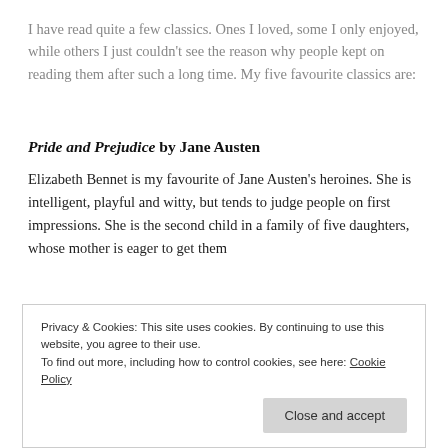I have read quite a few classics. Ones I loved, some I only enjoyed, while others I just couldn't see the reason why people kept on reading them after such a long time. My five favourite classics are:
Pride and Prejudice by Jane Austen
Elizabeth Bennet is my favourite of Jane Austen's heroines. She is intelligent, playful and witty, but tends to judge people on first impressions. She is the second child in a family of five daughters, whose mother is eager to get them
Privacy & Cookies: This site uses cookies. By continuing to use this website, you agree to their use.
To find out more, including how to control cookies, see here: Cookie Policy